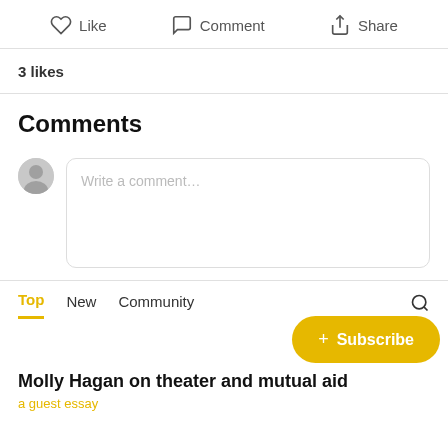Like  Comment  Share
3 likes
Comments
Write a comment...
Top  New  Community
+ Subscribe
Molly Hagan on theater and mutual aid
a guest essay